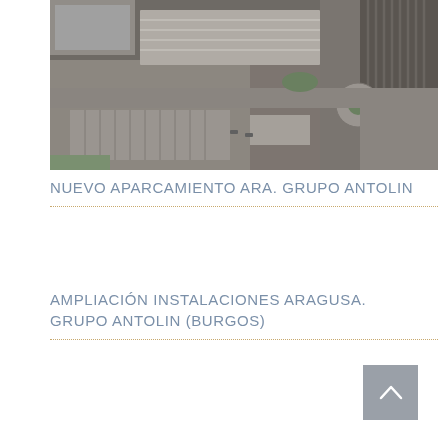[Figure (photo): Aerial satellite view of industrial facility with large warehouse buildings, parking areas, roads, and surrounding terrain. The facility appears to be the Grupo Antolin industrial complex.]
NUEVO APARCAMIENTO ARA. GRUPO ANTOLIN
AMPLIACIÓN INSTALACIONES ARAGUSA. GRUPO ANTOLIN (BURGOS)